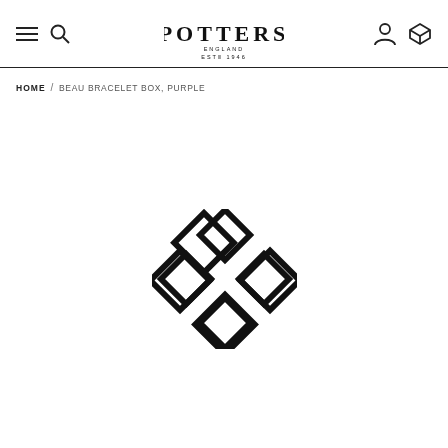Potters England Est. 1946 — navigation header with menu, search, account, and cart icons
HOME / BEAU BRACELET BOX, PURPLE
[Figure (logo): Diamond/rhombus pattern logo — two overlapping diamond shapes forming a 4-diamond cross pattern, outlined in black, loading placeholder for product image]